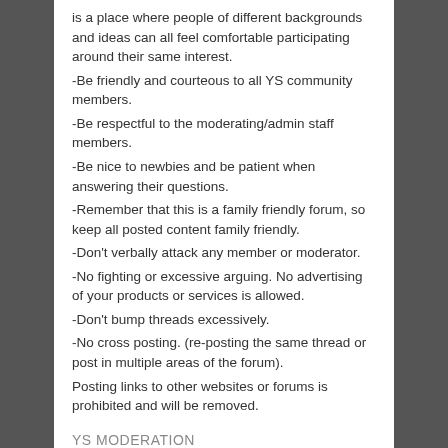is a place where people of different backgrounds and ideas can all feel comfortable participating around their same interest.
-Be friendly and courteous to all YS community members.
-Be respectful to the moderating/admin staff members.
-Be nice to newbies and be patient when answering their questions.
-Remember that this is a family friendly forum, so keep all posted content family friendly.
-Don't verbally attack any member or moderator.
-No fighting or excessive arguing. No advertising of your products or services is allowed.
-Don't bump threads excessively.
-No cross posting. (re-posting the same thread or post in multiple areas of the forum).
Posting links to other websites or forums is prohibited and will be removed.
YS MODERATION
-It is expected that you will be respectful to the moderating team and their disciplinary actions, as they are committed to make the forum as pleasant for everyone as possible.
-Please direct questions or concerns to the Administrator or specific moderator via PM or email.
-Do not post threads regarding problems with the moderating team as any problems will be handled privately. If a topic is closed or removed, please don't repost that same topic as